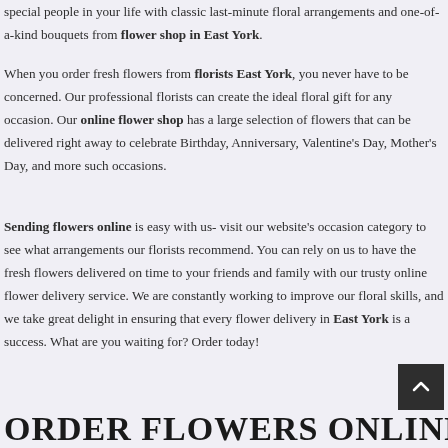special people in your life with classic last-minute floral arrangements and one-of-a-kind bouquets from flower shop in East York.
When you order fresh flowers from florists East York, you never have to be concerned. Our professional florists can create the ideal floral gift for any occasion. Our online flower shop has a large selection of flowers that can be delivered right away to celebrate Birthday, Anniversary, Valentine's Day, Mother's Day, and more such occasions.
Sending flowers online is easy with us- visit our website's occasion category to see what arrangements our florists recommend. You can rely on us to have the fresh flowers delivered on time to your friends and family with our trusty online flower delivery service. We are constantly working to improve our floral skills, and we take great delight in ensuring that every flower delivery in East York is a success. What are you waiting for? Order today!
ORDER FLOWERS ONLINE